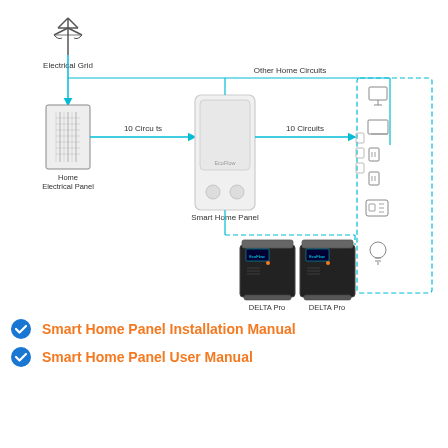[Figure (schematic): Wiring diagram showing Electrical Grid connected to Home Electrical Panel, which connects via 10 Circuits to Smart Home Panel, which connects via 10 Circuits to home appliances (computer, TV, outlets, car charger, light bulb) on the right, and via Other Home Circuits at the top. Below the Smart Home Panel, two DELTA Pro battery units are connected via a dashed line.]
Smart Home Panel Installation Manual
Smart Home Panel User Manual